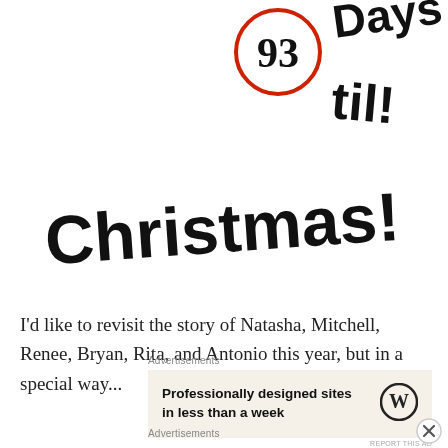[Figure (illustration): Hand-drawn style Christmas countdown graphic: a red circle containing the number 93, with handwritten-style black text reading 'Days til Christmas!' arranged in a decorative slanted layout]
I'd like to revisit the story of Natasha, Mitchell, Renee, Bryan, Rita, and Antonio this year, but in a special way...
Advertisements
Professionally designed sites in less than a week
REPORT THIS AD
Advertisements